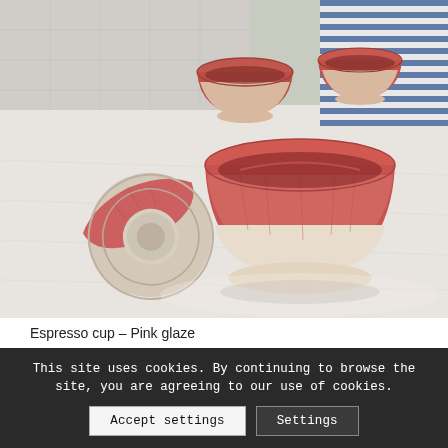[Figure (photo): Photograph of several handmade ceramic espresso cups with pink glaze fading to cream/white at the base, arranged on a white textured surface. One cup is tipped on its side showing the bottom. Blue-and-white striped fabric visible in the upper right background.]
Espresso cup – Pink glaze
This site uses cookies. By continuing to browse the site, you are agreeing to our use of cookies.